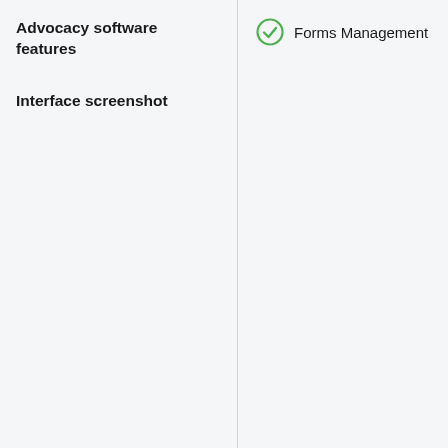Advocacy software features
Interface screenshot
Forms Management